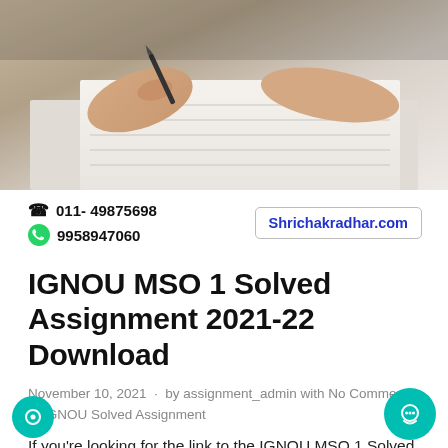[Figure (photo): Photograph of a person writing on paper with a pen, close-up of hands on a desk, gray/beige tones]
☎ 011- 49875698
9958947060
Shrichakradhar.com
IGNOU MSO 1 Solved Assignment 2021-22 Download
November 10, 2021 · by assignment_admin with No Comment · IGNOU Solved Assignment
If you're looking for the link to the IGNOU MSO 1 Solved Assignment 2021-22 Pdf Download, you've